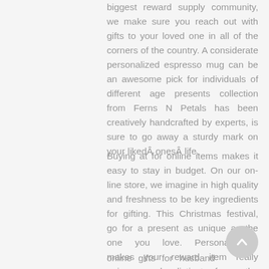biggest reward supply community, we make sure you reach out with gifts to your loved one in all of the corners of the country. A considerate personalized espresso mug can be an awesome pick for individuals of different age presents collection from Ferns N Petals has been creatively handcrafted by experts, is sure to go away a sturdy mark on your likedÂ onesÂ life.
Buying at for online items makes it easy to stay in budget. On our on-line store, we imagine in high quality and freshness to be key ingredients for gifting. This Christmas festival, go for a present as unique as the one you love. Personalization makes your reward item really unique and distinct from the accessible choices, hence making it a cherished reward for your loved ones.
online gifts for husband on anniversary, online